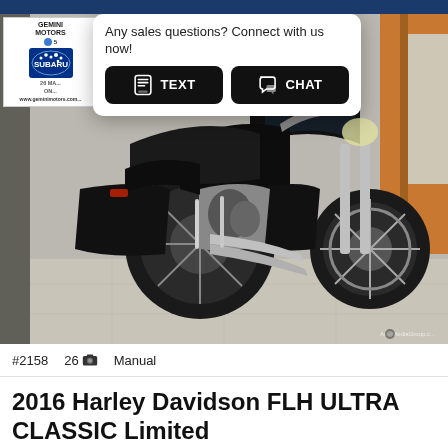[Figure (screenshot): Chat popup overlay with TEXT and CHAT buttons on top of a dealership motorcycle photo. Text reads: Any sales questions? Connect with us now!]
[Figure (photo): Black 2016 Harley Davidson FLH ULTRA CLASSIC Limited motorcycle photographed indoors at Gemini Motors Subaru dealership showroom.]
#2158   26   Manual
2016 Harley Davidson FLH ULTRA CLASSIC Limited